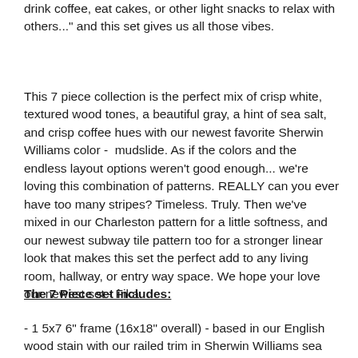drink coffee, eat cakes, or other light snacks to relax with others..." and this set gives us all those vibes.
This 7 piece collection is the perfect mix of crisp white, textured wood tones, a beautiful gray, a hint of sea salt, and crisp coffee hues with our newest favorite Sherwin Williams color -  mudslide. As if the colors and the endless layout options weren't good enough... we're loving this combination of patterns. REALLY can you ever have too many stripes? Timeless. Truly. Then we've mixed in our Charleston pattern for a little softness, and our newest subway tile pattern too for a stronger linear look that makes this set the perfect add to any living room, hallway, or entry way space. We hope your love our newest set - Fika.
The 7 Piece set includes:
- 1 5x7 6" frame (16x18" overall) - based in our English wood stain with our railed trim in Sherwin Williams sea